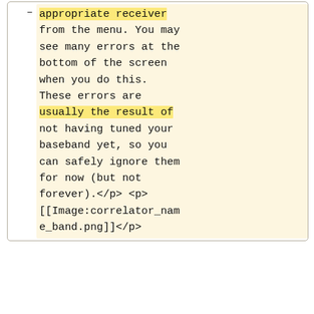appropriate receiver from the menu. You may see many errors at the bottom of the screen when you do this. These errors are usually the result of not having tuned your baseband yet, so you can safely ignore them for now (but not forever).</p> <p> [[Image:correlator_name_band.png]]</p>
** Make sure that you have the appropriate editor selected under "Editor". Most likely you will want OSRO.
* It is easier to set the baseband